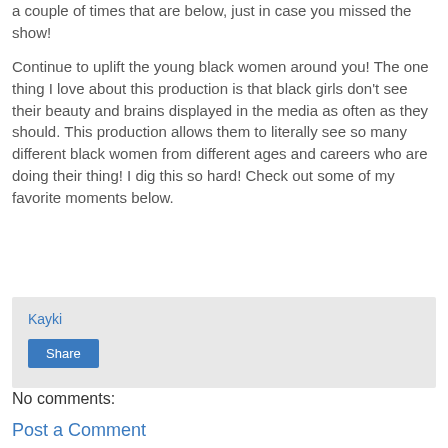a couple of times that are below, just in case you missed the show!
Continue to uplift the young black women around you! The one thing I love about this production is that black girls don't see their beauty and brains displayed in the media as often as they should. This production allows them to literally see so many different black women from different ages and careers who are doing their thing! I dig this so hard! Check out some of my favorite moments below.
Kayki
Share
No comments:
Post a Comment